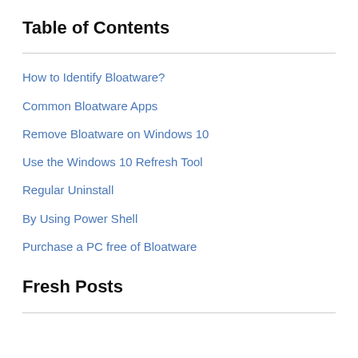Table of Contents
How to Identify Bloatware?
Common Bloatware Apps
Remove Bloatware on Windows 10
Use the Windows 10 Refresh Tool
Regular Uninstall
By Using Power Shell
Purchase a PC free of Bloatware
Fresh Posts